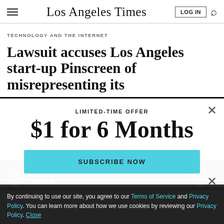Los Angeles Times
TECHNOLOGY AND THE INTERNET
Lawsuit accuses Los Angeles start-up Pinscreen of misrepresenting its
LIMITED-TIME OFFER
$1 for 6 Months
SUBSCRIBE NOW
By continuing to use our site, you agree to our Terms of Service and Privacy Policy. You can learn more about how we use cookies by reviewing our Privacy Policy. Close